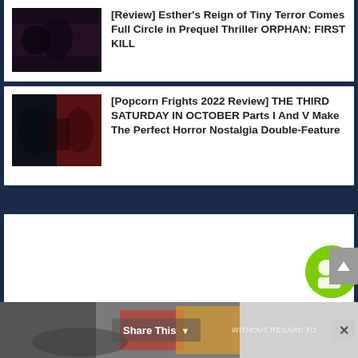[Review] Esther's Reign of Tiny Terror Comes Full Circle in Prequel Thriller ORPHAN: FIRST KILL
[Popcorn Frights 2022 Review] THE THIRD SATURDAY IN OCTOBER Parts I And V Make The Perfect Horror Nostalgia Double-Feature
[Figure (other): Ezoic advertisement area with ezoic logo and report this ad link]
[Figure (other): Green circular social share icon button]
[Figure (other): Bottom banner advertisement with airplane image and Share This button, WITHOUT REGARD TO text, and close button]